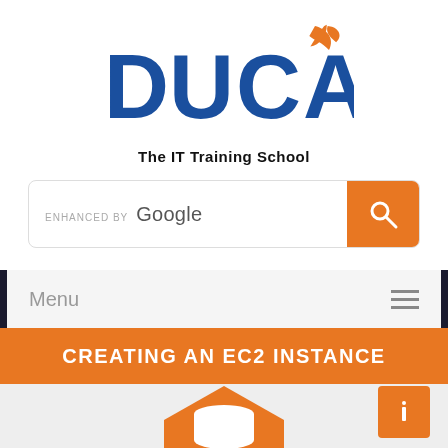[Figure (logo): DUCAT - The IT Training School logo with blue text and orange leaf/star accent]
[Figure (screenshot): Search bar with 'enhanced by Google' text and orange search button]
Menu
CREATING AN EC2 INSTANCE
[Figure (illustration): Orange hexagon with white database/cylinder stack icon on gray background, and small orange square with info icon at bottom right]